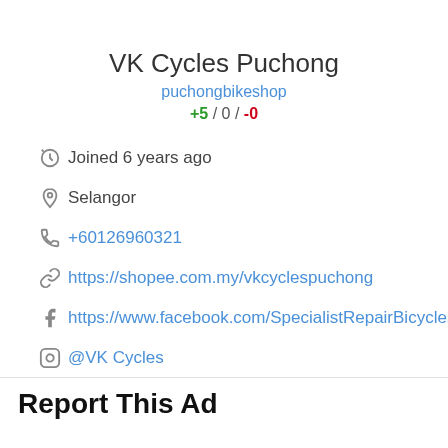VK Cycles Puchong
puchongbikeshop
+5 / 0 / -0
Joined 6 years ago
Selangor
+60126960321
https://shopee.com.my/vkcyclespuchong
https://www.facebook.com/SpecialistRepairBicycles/
@VK Cycles
Report This Ad